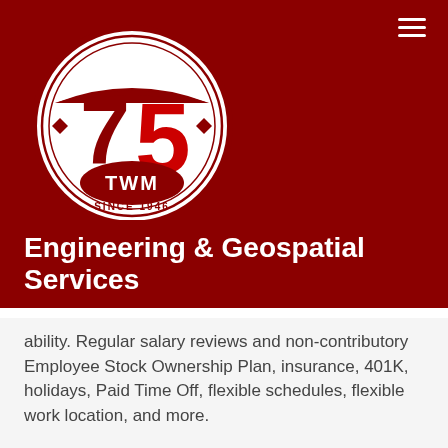[Figure (logo): TWM 75th anniversary circular logo — white circle with red '75' numeral, TWM banner, and 'SINCE 1946' text, on dark red background]
Engineering & Geospatial Services
ability. Regular salary reviews and non-contributory Employee Stock Ownership Plan, insurance, 401K, holidays, Paid Time Off, flexible schedules, flexible work location, and more.
TWM is an established but growth-oriented consulting firm offering Civil and Structural